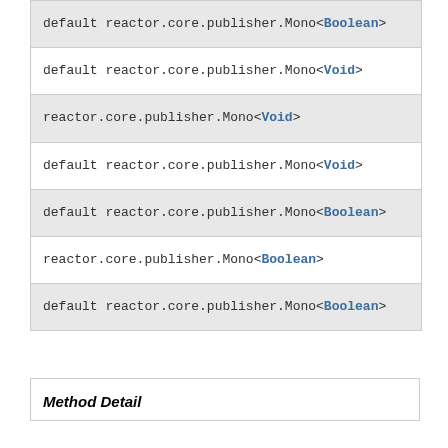default reactor.core.publisher.Mono<Boolean>
default reactor.core.publisher.Mono<Void>
reactor.core.publisher.Mono<Void>
default reactor.core.publisher.Mono<Void>
default reactor.core.publisher.Mono<Boolean>
reactor.core.publisher.Mono<Boolean>
default reactor.core.publisher.Mono<Boolean>
Method Detail